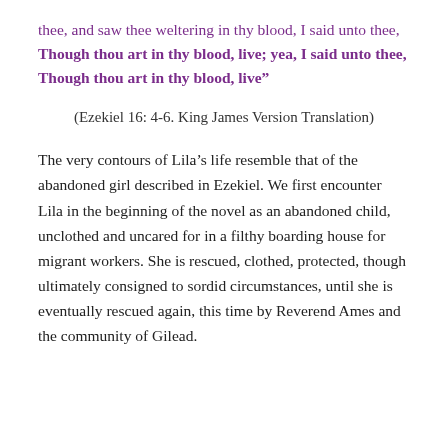thee, and saw thee weltering in thy blood, I said unto thee, Though thou art in thy blood, live; yea, I said unto thee, Though thou art in thy blood, live”
(Ezekiel 16: 4-6. King James Version Translation)
The very contours of Lila’s life resemble that of the abandoned girl described in Ezekiel. We first encounter Lila in the beginning of the novel as an abandoned child, unclothed and uncared for in a filthy boarding house for migrant workers. She is rescued, clothed, protected, though ultimately consigned to sordid circumstances, until she is eventually rescued again, this time by Reverend Ames and the community of Gilead.